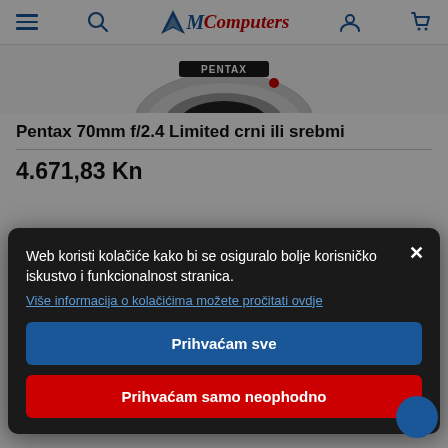M Computers — navigation header with burger menu, search, logo, user and cart icons
[Figure (photo): Partial top view of a camera lens labeled PENTAX 70]
Pentax 70mm f/2.4 Limited crni ili srebmi
4.671,83 Kn
Web koristi kolačiće kako bi se osiguralo bolje korisničko iskustvo i funkcionalnost stranica.
Više informacija o kolačićima možete pročitati ovdje
Prihvaćam sve
Prihvaćam samo neophodno